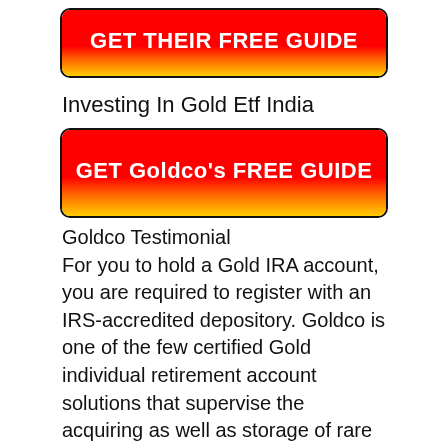[Figure (other): Red and gold gradient button with bold white text reading GET THEIR FREE GUIDE]
Investing In Gold Etf India
[Figure (other): Red and gold gradient button with bold white text reading GET Goldco's FREE GUIDE]
Goldco Testimonial
For you to hold a Gold IRA account, you are required to register with an IRS-accredited depository. Goldco is one of the few certified Gold individual retirement account solutions that supervise the acquiring as well as storage of rare earth elements.